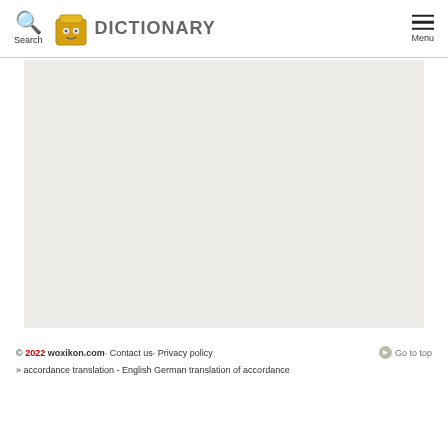Search  DICTIONARY  Menu
[Figure (other): Large light gray/beige rectangular content area placeholder]
© 2022 woxikon.com· Contact us· Privacy policy  Go to top
» accordance translation - English German translation of accordance